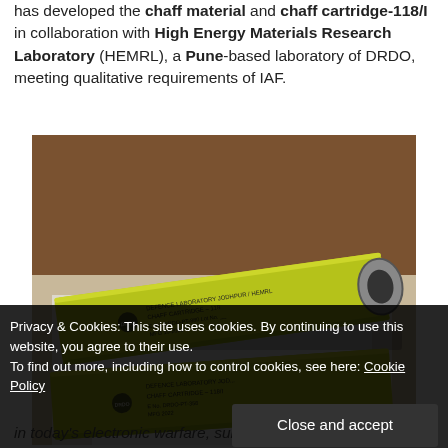has developed the chaff material and chaff cartridge-118/I in collaboration with High Energy Materials Research Laboratory (HEMRL), a Pune-based laboratory of DRDO, meeting qualitative requirements of IAF.
[Figure (photo): Two yellow-green rectangular chaff cartridges (labelled CHAFF CARTRIDGE - 118) placed on a white surface, photographed on a wooden table background.]
Privacy & Cookies: This site uses cookies. By continuing to use this website, you agree to their use.
To find out more, including how to control cookies, see here: Cookie Policy
Close and accept
in today's electronic warfare, survivability of fighter